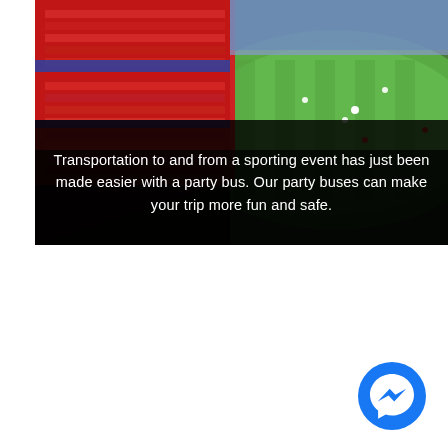[Figure (photo): Aerial view of a crowded stadium with red and blue stands, green pitch, fans filling the seats, taken from an elevated angle]
Transportation to and from a sporting event has just been made easier with a party bus. Our party buses can make your trip more fun and safe.
[Figure (logo): Facebook Messenger chat button — blue circle with white lightning bolt / chat icon]